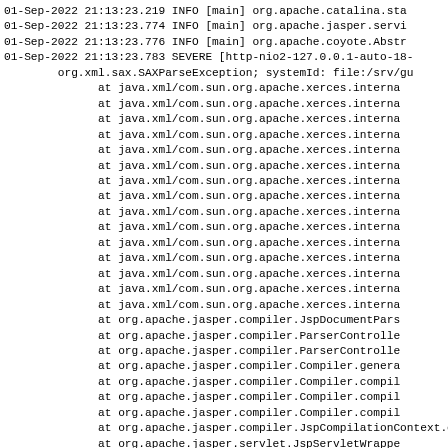01-Sep-2022 21:13:23.219 INFO [main] org.apache.catalina.sta
01-Sep-2022 21:13:23.774 INFO [main] org.apache.jasper.servi
01-Sep-2022 21:13:23.776 INFO [main] org.apache.coyote.Abstr
01-Sep-2022 21:13:23.783 SEVERE [http-nio2-127.0.0.1-auto-18-
        org.xml.sax.SAXParseException; systemId: file:/srv/gu
              at java.xml/com.sun.org.apache.xerces.interna
              at java.xml/com.sun.org.apache.xerces.interna
              at java.xml/com.sun.org.apache.xerces.interna
              at java.xml/com.sun.org.apache.xerces.interna
              at java.xml/com.sun.org.apache.xerces.interna
              at java.xml/com.sun.org.apache.xerces.interna
              at java.xml/com.sun.org.apache.xerces.interna
              at java.xml/com.sun.org.apache.xerces.interna
              at java.xml/com.sun.org.apache.xerces.interna
              at java.xml/com.sun.org.apache.xerces.interna
              at java.xml/com.sun.org.apache.xerces.interna
              at java.xml/com.sun.org.apache.xerces.interna
              at java.xml/com.sun.org.apache.xerces.interna
              at java.xml/com.sun.org.apache.xerces.interna
              at java.xml/com.sun.org.apache.xerces.interna
              at org.apache.jasper.compiler.JspDocumentPars
              at org.apache.jasper.compiler.ParserControlle
              at org.apache.jasper.compiler.ParserControlle
              at org.apache.jasper.compiler.Compiler.genera
              at org.apache.jasper.compiler.Compiler.compil
              at org.apache.jasper.compiler.Compiler.compil
              at org.apache.jasper.compiler.Compiler.compil
              at org.apache.jasper.compiler.JspCompilationContext.co
              at org.apache.jasper.servlet.JspServletWrappe
              at org.apache.jasper.servlet.JspServlet.servi
              at org.apache.jasper.servlet.JspServlet.servi
              at jakarta.servlet.http.HttpServlet.service(H
              at org.apache.catalina.core.ApplicationFilto